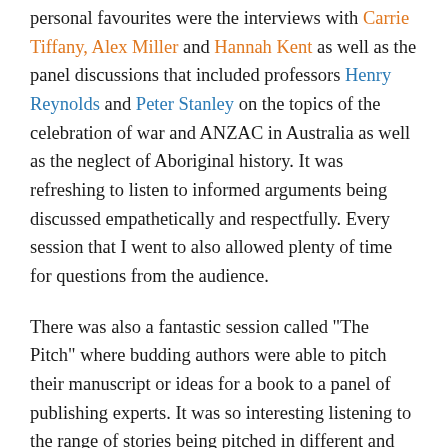personal favourites were the interviews with Carrie Tiffany, Alex Miller and Hannah Kent as well as the panel discussions that included professors Henry Reynolds and Peter Stanley on the topics of the celebration of war and ANZAC in Australia as well as the neglect of Aboriginal history. It was refreshing to listen to informed arguments being discussed empathetically and respectfully. Every session that I went to also allowed plenty of time for questions from the audience.
There was also a fantastic session called "The Pitch" where budding authors were able to pitch their manuscript or ideas for a book to a panel of publishing experts. It was so interesting listening to the range of stories being pitched in different and engaging ways. Irina Dunn did a great job of chairing this session, which could have easily gone on much longer.